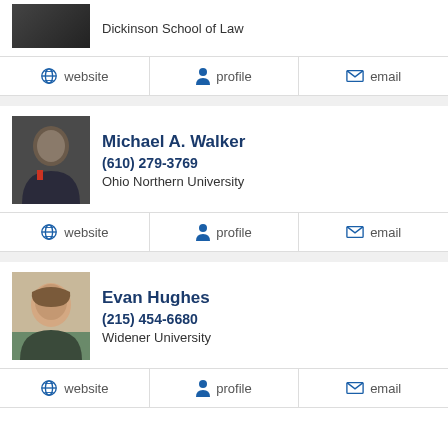Dickinson School of Law
website | profile | email
Michael A. Walker
(610) 279-3769
Ohio Northern University
website | profile | email
Evan Hughes
(215) 454-6680
Widener University
website | profile | email